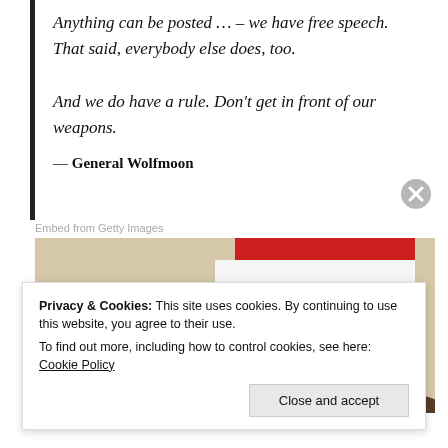Anything can be posted … – we have free speech. That said, everybody else does, too. And we do have a rule. Don't get in front of our weapons.
— General Wolfmoon
Embed from Getty Images
[Figure (photo): Classroom scene with children and an American flag in the background]
Privacy & Cookies: This site uses cookies. By continuing to use this website, you agree to their use.
To find out more, including how to control cookies, see here: Cookie Policy
Close and accept